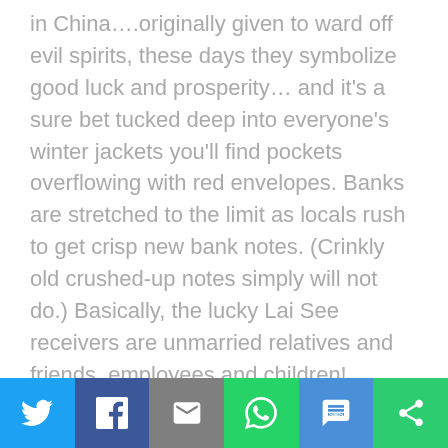in China….originally given to ward off evil spirits, these days they symbolize good luck and prosperity… and it's a sure bet tucked deep into everyone's winter jackets you'll find pockets overflowing with red envelopes. Banks are stretched to the limit as locals rush to get crisp new bank notes. (Crinkly old crushed-up notes simply will not do.) Basically, the lucky Lai See receivers are unmarried relatives and friends, employees and children! Everyone else step aside and be prepared to dish out the dollars. There's a "standard" token amount of a $20 dollar note in a red packet, but you can give as much as you
[Figure (infographic): Social sharing bar with six buttons: Twitter (blue), Facebook (dark blue), Email (gray), WhatsApp (green), SMS (blue), and a share/more icon (green)]